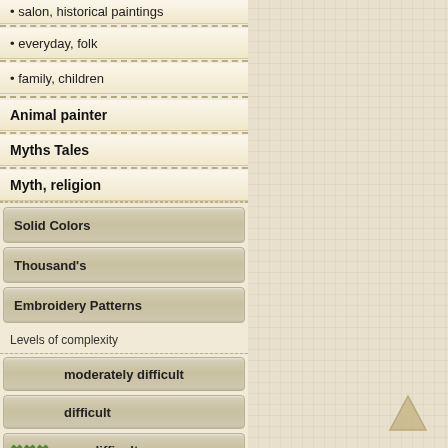• salon, historical paintings
• everyday, folk
• family, children
Animal painter
Myths Tales
Myth, religion
Solid Colors
Thousand's
Embroidery Patterns
Levels of complexity
moderately difficult
difficult
XXX   very difficult